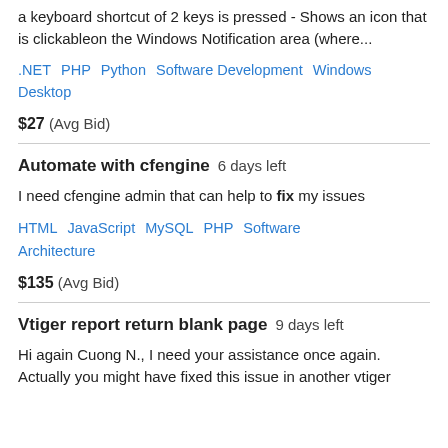a keyboard shortcut of 2 keys is pressed - Shows an icon that is clickableon the Windows Notification area (where...
.NET   PHP   Python   Software Development   Windows Desktop
$27   (Avg Bid)
Automate with cfengine   6 days left
I need cfengine admin that can help to fix my issues
HTML   JavaScript   MySQL   PHP   Software Architecture
$135   (Avg Bid)
Vtiger report return blank page   9 days left
Hi again Cuong N., I need your assistance once again. Actually you might have fixed this issue in another vtiger